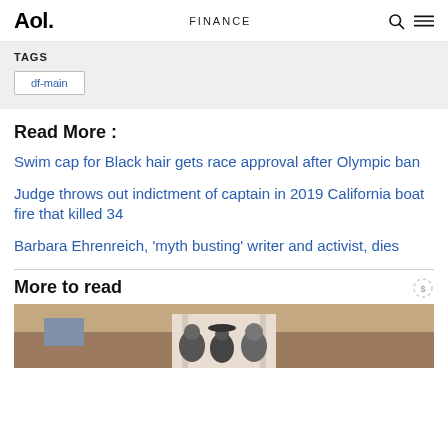Aol. | FINANCE
TAGS
df-main
Read More :
Swim cap for Black hair gets race approval after Olympic ban
Judge throws out indictment of captain in 2019 California boat fire that killed 34
Barbara Ehrenreich, 'myth busting' writer and activist, dies
More to read
[Figure (photo): Group of people standing in front of a brick building with white columns]